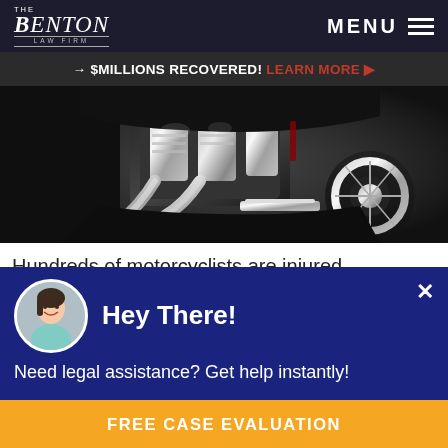The Benton Law Firm — MENU
→ $MILLIONS RECOVERED! LEARN MORE ▶
[Figure (photo): Close-up photograph of a motorcycle engine and chrome exhaust pipes]
Hundreds of motorcyclists are injured throughout Texas every year. Most motorcycle accidents happen when drivers
Hey There!
Need legal assistance? Get help instantly!
FREE CASE EVALUATION